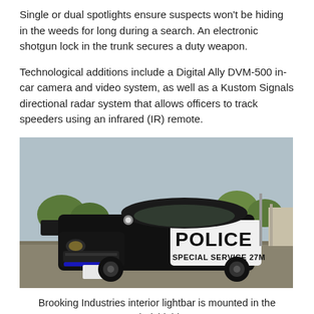Single or dual spotlights ensure suspects won't be hiding in the weeds for long during a search. An electronic shotgun lock in the trunk secures a duty weapon.
Technological additions include a Digital Ally DVM-500 in-car camera and video system, as well as a Kustom Signals directional radar system that allows officers to track speeders using an infrared (IR) remote.
[Figure (photo): A black and white police Dodge Challenger with 'POLICE SPECIAL SERVICE 27M' text on the door, parked in a parking lot with trees and buildings in the background.]
Brooking Industries interior lightbar is mounted in the windshield, along with their LED's on the push bumper.